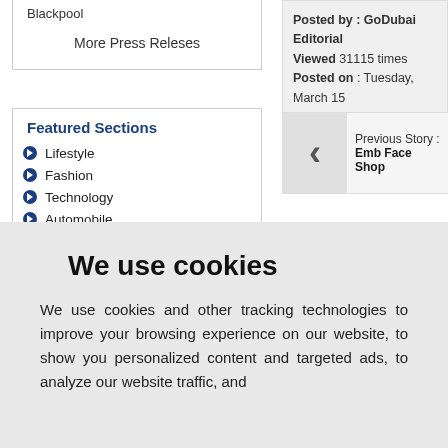Blackpool
More Press Releses
Featured Sections
Lifestyle
Fashion
Technology
Automobile
Food Industry
Real Estate-Retail
Travel-Tourism
Banking Investments
Education-Training
Govt-Humanity
Posted by : GoDubai Editorial
Viewed 31115 times
Posted on : Tuesday, March 15
Replication or redistribution in w written consent of GoDubai.com
Previous Story : Emb Face Shop
We use cookies
We use cookies and other tracking technologies to improve your browsing experience on our website, to show you personalized content and targeted ads, to analyze our website traffic, and